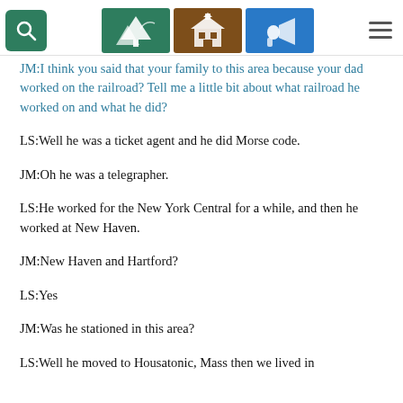[Navigation header with search icon, nature/history/media icons, and hamburger menu]
JM:I think you said that your family to this area because your dad worked on the railroad? Tell me a little bit about what railroad he worked on and what he did?
LS:Well he was a ticket agent and he did Morse code.
JM:Oh he was a telegrapher.
LS:He worked for the New York Central for a while, and then he worked at New Haven.
JM:New Haven and Hartford?
LS:Yes
JM:Was he stationed in this area?
LS:Well he moved to Housatonic, Mass then we lived in